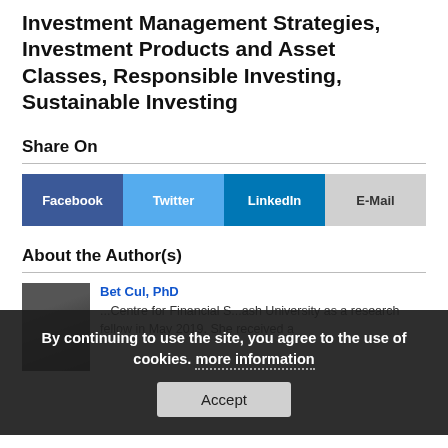Investment Management Strategies, Investment Products and Asset Classes, Responsible Investing, Sustainable Investing
Share On
[Figure (infographic): Social share buttons row: Facebook (dark blue), Twitter (light blue), LinkedIn (medium blue), E-Mail (light gray)]
About the Author(s)
Bet Cul, PhD ... Centre for Financial S...ash University as a research fellow in May 2019. She received a ...
By continuing to use the site, you agree to the use of cookies. more information